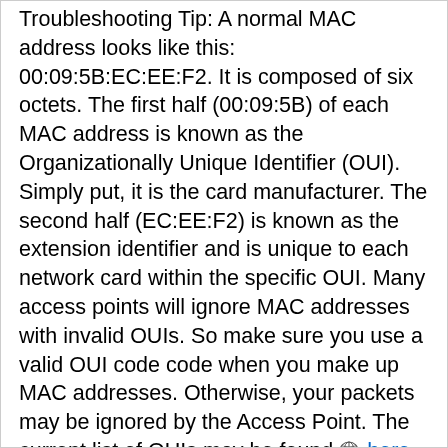Troubleshooting Tip: A normal MAC address looks like this: 00:09:5B:EC:EE:F2. It is composed of six octets. The first half (00:09:5B) of each MAC address is known as the Organizationally Unique Identifier (OUI). Simply put, it is the card manufacturer. The second half (EC:EE:F2) is known as the extension identifier and is unique to each network card within the specific OUI. Many access points will ignore MAC addresses with invalid OUIs. So make sure you use a valid OUI code code when you make up MAC addresses. Otherwise, your packets may be ignored by the Access Point. The current list of OUIs may be found [globe] here.
Injecting in Managed Mode
With patched madwifi-old CVS 2005-08-14, it's possible to inject packets while in Managed mode (the WEP key itself doesn't matter, as long as the AP accepts Open-System authentication). So, instead of running attack 1, you may just associate and inject / monitor through the athXraw interface: